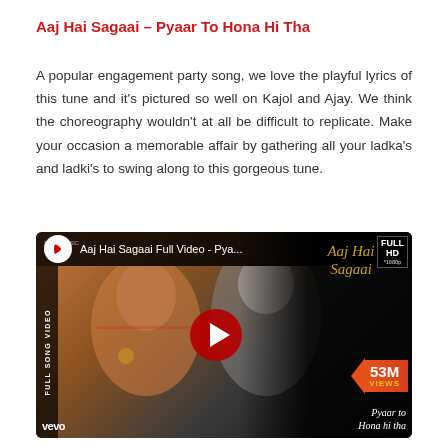Aaj Hai Sagaai – Pyaar To Hona Hi Tha
A popular engagement party song, we love the playful lyrics of this tune and it's pictured so well on Kajol and Ajay. We think the choreography wouldn't at all be difficult to replicate. Make your occasion a memorable affair by gathering all your ladka's and ladki's to swing along to this gorgeous tune.
[Figure (screenshot): YouTube video thumbnail for 'Aaj Hai Sagaai Full Video – Pya...' showing Kajol and Ajay Devgn from the movie Pyaar To Hona Hi Tha, with the YouTube play button, '53M VIEWS' badge, and 'Aaj Hai Sagaai' text overlay. Includes vevo and Full HD labels.]